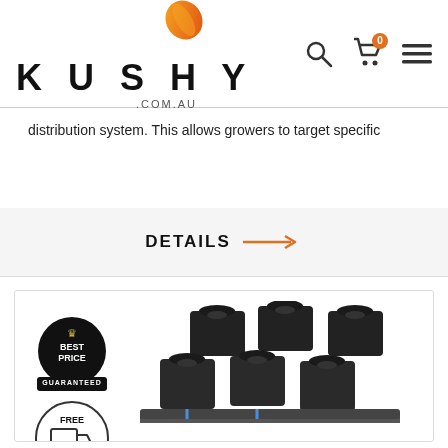[Figure (logo): Kushy.com.au logo with orange leaf and bold KUSHY lettering]
distribution system. This allows growers to target specific
DETAILS →
[Figure (photo): Product card showing Best Price Guaranteed badge, Free Shipping badge, and photo of black hydroponic grow system with multiple pots]